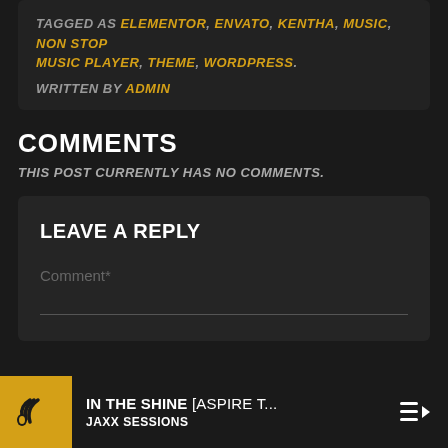TAGGED AS ELEMENTOR, ENVATO, KENTHA, MUSIC, NON STOP MUSIC PLAYER, THEME, WORDPRESS.
WRITTEN BY ADMIN
COMMENTS
THIS POST CURRENTLY HAS NO COMMENTS.
LEAVE A REPLY
Comment*
IN THE SHINE [ASPIRE T... JAXX SESSIONS